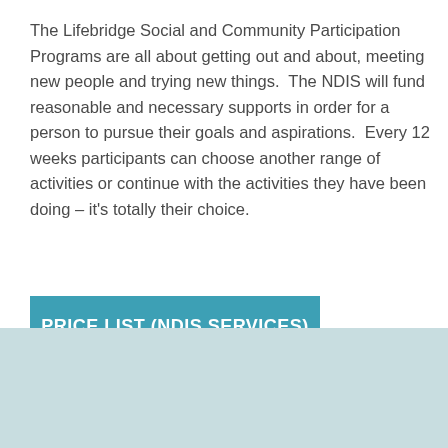The Lifebridge Social and Community Participation Programs are all about getting out and about, meeting new people and trying new things.  The NDIS will fund reasonable and necessary supports in order for a person to pursue their goals and aspirations.  Every 12 weeks participants can choose another range of activities or continue with the activities they have been doing – it's totally their choice.
PRICE LIST (NDIS SERVICES)